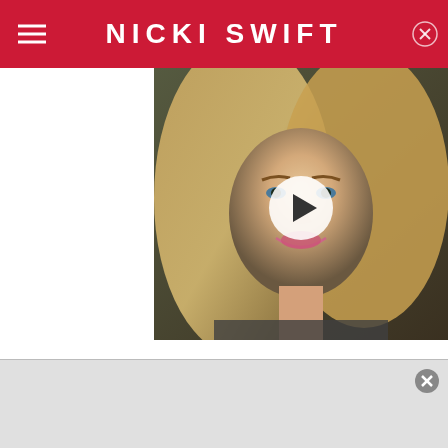NICKI SWIFT
[Figure (photo): Video thumbnail showing a smiling blonde woman with a play button overlay, positioned in the upper right of the page]
He then elaborated on his issue with Drake, explaining that he didn't like how the "Hotline Bling" rapper was reportedly taking control over a posthumous Aaliyah
[Figure (other): Bottom advertisement bar with close button]